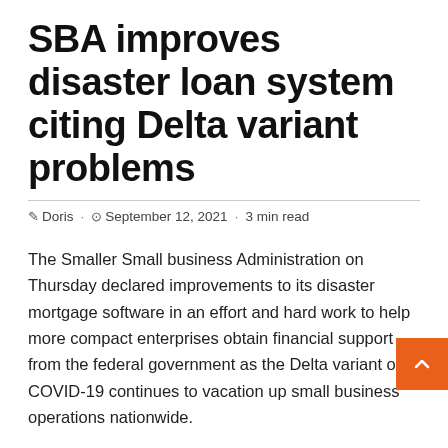SBA improves disaster loan system citing Delta variant problems
✎ Doris · 🕐 September 12, 2021 · 3 min read
The Smaller Small business Administration on Thursday declared improvements to its disaster mortgage software in an effort and hard work to help more compact enterprises obtain financial support from the federal government as the Delta variant of COVID-19 continues to vacation up small business operations nationwide.
For a single, the SBA is raising mortgage limitations its Financial Injury Catastrophe Financial loan system